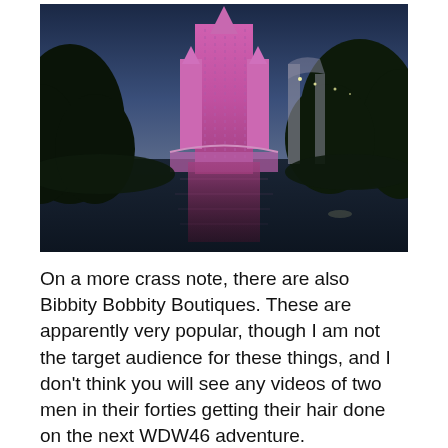[Figure (photo): Dusk photograph of Cinderella Castle at Walt Disney World, lit with pink/purple lighting, reflected in a moat or pond in the foreground, with dark trees on either side and a twilight sky in the background.]
On a more crass note, there are also Bibbity Bobbity Boutiques. These are apparently very popular, though I am not the target audience for these things, and I don't think you will see any videos of two men in their forties getting their hair done on the next WDW46 adventure.
The Cinderella universe shows up in all the expected spots. Characters, fireworks, parades,